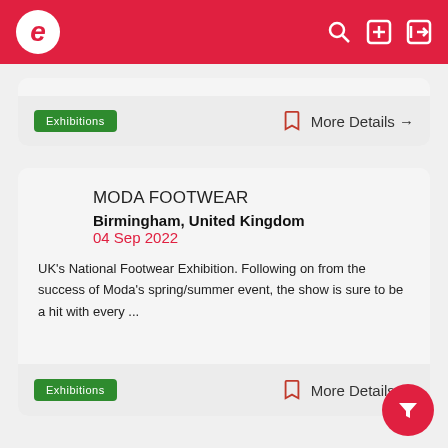Eventbrite-style app header with logo and icons
Exhibitions | More Details →
MODA FOOTWEAR
Birmingham, United Kingdom
04 Sep 2022
UK's National Footwear Exhibition. Following on from the success of Moda's spring/summer event, the show is sure to be a hit with every ...
Exhibitions | More Details →